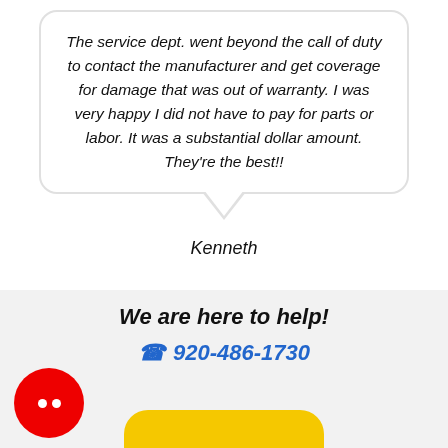The service dept. went beyond the call of duty to contact the manufacturer and get coverage for damage that was out of warranty. I was very happy I did not have to pay for parts or labor. It was a substantial dollar amount. They're the best!!
Kenneth
We are here to help!
920-486-1730